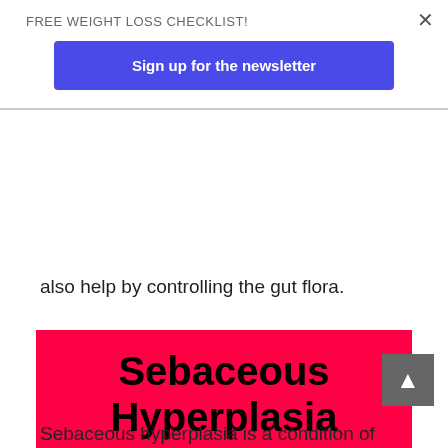FREE WEIGHT LOSS CHECKLIST!
Sign up for the newsletter
also help by controlling the gut flora.
Sebaceous Hyperplasia
Sebaceous hyperplasia is a condition of